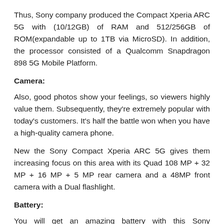Thus, Sony company produced the Compact Xperia ARC 5G with (10/12GB) of RAM and 512/256GB of ROM(expandable up to 1TB via MicroSD). In addition, the processor consisted of a Qualcomm Snapdragon 898 5G Mobile Platform.
Camera:
Also, good photos show your feelings, so viewers highly value them. Subsequently, they're extremely popular with today's customers. It's half the battle won when you have a high-quality camera phone.
New the Sony Compact Xperia ARC 5G gives them increasing focus on this area with its Quad 108 MP + 32 MP + 16 MP + 5 MP rear camera and a 48MP front camera with a Dual flashlight.
Battery:
You will get an amazing battery with this Sony smartphone. Sony the Compact Xperia ARC includes a new Li-Polymer 7100mAh Non-removable fast-charging battery with a capacity of 65 watts (Quick-Charge), which takes the charge very fast. An electronic device that